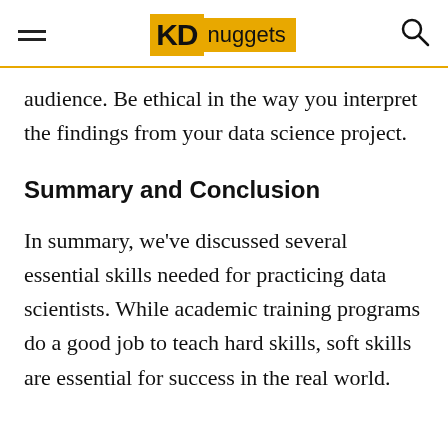KD nuggets
audience. Be ethical in the way you interpret the findings from your data science project.
Summary and Conclusion
In summary, we've discussed several essential skills needed for practicing data scientists. While academic training programs do a good job to teach hard skills, soft skills are essential for success in the real world.